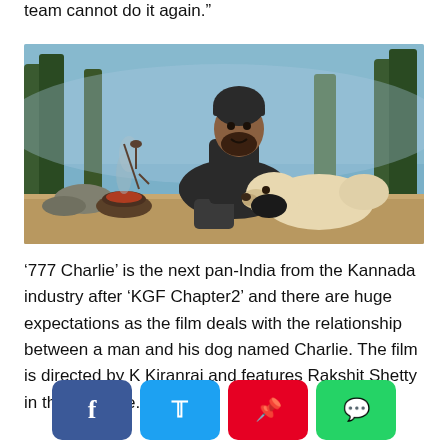team cannot do it again.”
[Figure (photo): A bearded man in dark jacket and black beanie hat crouching outdoors in a forest setting, petting a white/cream colored dog (Labrador type) near a campfire on the ground. Trees and blue misty background visible.]
‘777 Charlie’ is the next pan-India from the Kannada industry after ‘KGF Chapter2’ and there are huge expectations as the film deals with the relationship between a man and his dog named Charlie. The film is directed by K Kiranraj and features Rakshit Shetty in the lead role.
[Figure (infographic): Social media share buttons: Facebook (blue), Twitter (cyan/blue), Pinterest (red), WhatsApp (green)]